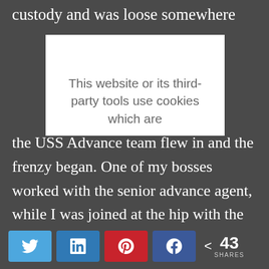custody and was loose somewhere
[Figure (other): Cookie consent overlay with text: This website or its third-party tools use cookies which are]
the USS Advance team flew in and the frenzy began. One of my bosses worked with the senior advance agent, while I was joined at the hip with the number- two advance agent whose main job was protective intelligence. This couldn’t have worked out better, enabling me to brief the advance team on
Twitter share button
LinkedIn share button
Pinterest share button
Facebook share button
< 43 SHARES